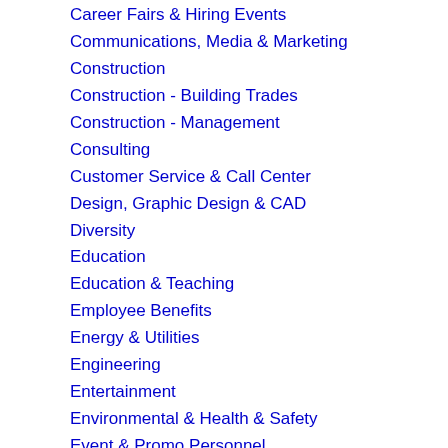Career Fairs & Hiring Events
Communications, Media & Marketing
Construction
Construction - Building Trades
Construction - Management
Consulting
Customer Service & Call Center
Design, Graphic Design & CAD
Diversity
Education
Education & Teaching
Employee Benefits
Energy & Utilities
Engineering
Entertainment
Environmental & Health & Safety
Event & Promo Personnel
Executive
Executive & Management
Exercise and Fitness